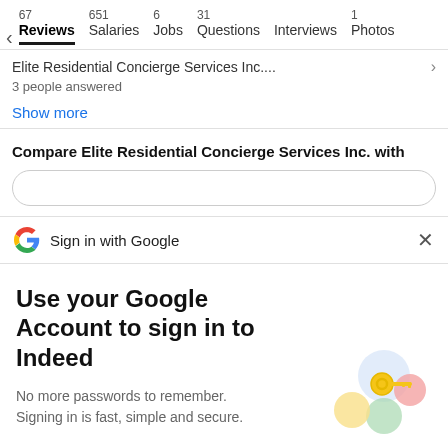67 Reviews  651 Salaries  6 Jobs  31 Questions  Interviews  1 Photos
Elite Residential Concierge Services Inc....
3 people answered
Show more
Compare Elite Residential Concierge Services Inc. with
Sign in with Google
Use your Google Account to sign in to Indeed
No more passwords to remember. Signing in is fast, simple and secure.
Continue